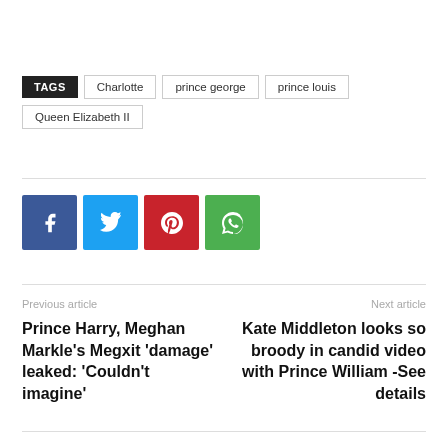TAGS  Charlotte  prince george  prince louis  Queen Elizabeth II
[Figure (infographic): Social share buttons: Facebook (blue), Twitter (light blue), Pinterest (red), WhatsApp (green)]
Previous article
Prince Harry, Meghan Markle's Megxit 'damage' leaked: 'Couldn't imagine'
Next article
Kate Middleton looks so broody in candid video with Prince William -See details